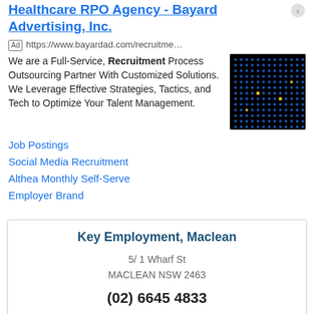Healthcare RPO Agency - Bayard Advertising, Inc.
Ad https://www.bayardad.com/recruitme…
We are a Full-Service, Recruitment Process Outsourcing Partner With Customized Solutions. We Leverage Effective Strategies, Tactics, and Tech to Optimize Your Talent Management.
[Figure (photo): Dark matrix-style image with blue and yellow dots on black background]
Job Postings
Social Media Recruitment
Althea Monthly Self-Serve
Employer Brand
Key Employment, Maclean
5/ 1 Wharf St
MACLEAN NSW 2463
(02) 6645 4833
··· More Info
Call Now